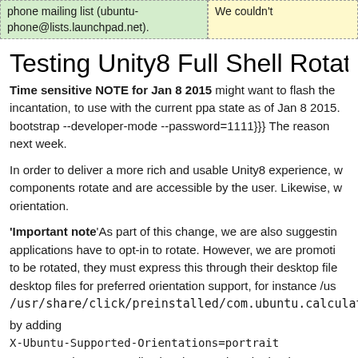| phone mailing list (ubuntu-phone@lists.launchpad.net). | We couldn't |
Testing Unity8 Full Shell Rotat
Time sensitive NOTE for Jan 8 2015 might want to flash the incantation, to use with the current ppa state as of Jan 8 2015. bootstrap --developer-mode --password=1111}}} The reason next week.
In order to deliver a more rich and usable Unity8 experience, w components rotate and are accessible by the user. Likewise, w orientation.
'Important note'As part of this change, we are also suggestin applications have to opt-in to rotate. However, we are promoti to be rotated, they must express this through their desktop file desktop files for preferred orientation support, for instance /us /usr/share/click/preinstalled/com.ubuntu.calculator/c
by adding
X-Ubuntu-Supported-Orientations=portrait
or you may have an application that needs to be landscape